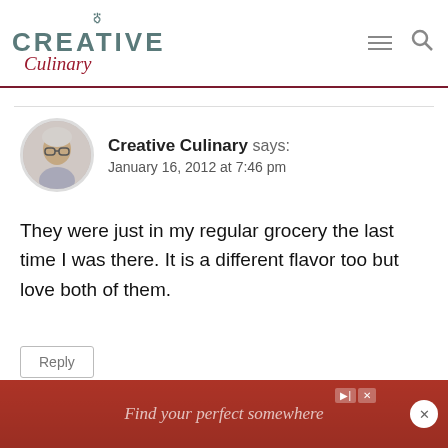Creative Culinary
[Figure (photo): Avatar photo of a woman with glasses in a circular frame]
Creative Culinary says:
January 16, 2012 at 7:46 pm
They were just in my regular grocery the last time I was there. It is a different flavor too but love both of them.
Reply
[Figure (screenshot): Red advertisement banner reading 'Find your perfect somewhere']